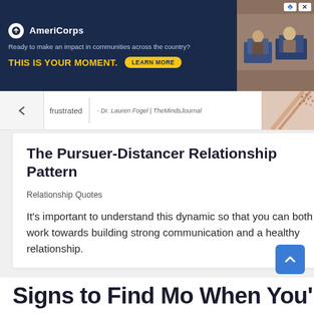[Figure (photo): AmeriCorps advertisement banner with dark navy background, logo, tagline 'Ready to make an impact in communities across the country?', bold yellow text 'THIS IS YOUR MOMENT.', a 'LEARN MORE' button, and a photo of people at computers on the right side.]
frustrated
- Dr. Lauren Fogel | TheMindsJournal
The Pursuer-Distancer Relationship Pattern
Relationship Quotes
It's important to understand this dynamic so that you can both work towards building strong communication and a healthy relationship.
[Figure (other): Blue back-to-top arrow button]